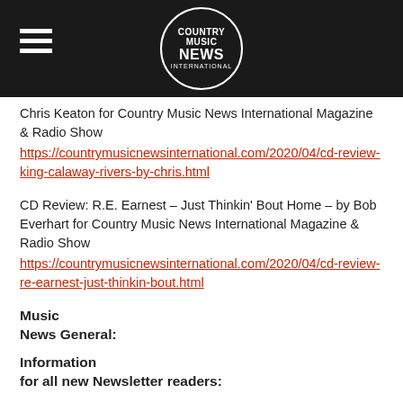COUNTRY MUSIC NEWS INTERNATIONAL
Chris Keaton for Country Music News International Magazine & Radio Show
https://countrymusicnewsinternational.com/2020/04/cd-review-king-calaway-rivers-by-chris.html
CD Review: R.E. Earnest – Just Thinkin' Bout Home – by Bob Everhart for Country Music News International Magazine & Radio Show
https://countrymusicnewsinternational.com/2020/04/cd-review-re-earnest-just-thinkin-bout.html
Music
News General:
Information
for all new Newsletter readers:
Country
Music News International is offering creative promotion to artists